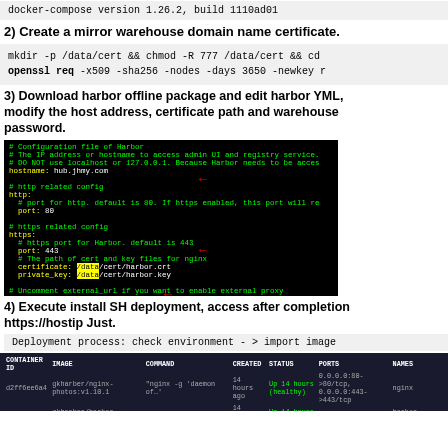docker-compose version 1.26.2, build 1110ad01
2) Create a mirror warehouse domain name certificate.
mkdir -p /data/cert && chmod -R 777 /data/cert && cd
openssl req -x509 -sha256 -nodes -days 3650 -newkey r
3) Download harbor offline package and edit harbor YML, modify the host address, certificate path and warehouse password.
[Figure (screenshot): Harbor YAML configuration file screenshot showing hostname: hub.jhmy.com, http port: 80, https port: 443, certificate and private_key paths pointing to /data/cert/, harbor_admin_password: Harbor12345, with red arrows pointing to key fields]
4) Execute install SH deployment, access after completion https://hostip Just.
Deployment process: check environment - > import image
[Figure (screenshot): Terminal output table showing docker container list with columns: CONTAINER ID, IMAGE, COMMAND, CREATED, STATUS, PORTS, NAMES. Rows include nginx, harbor-jobservice, harbor-core, harbor-registryctl containers]